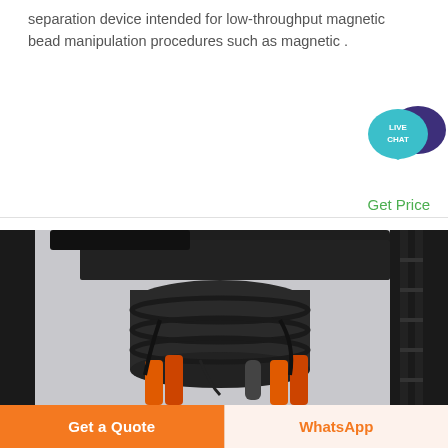separation device intended for low-throughput magnetic bead manipulation procedures such as magnetic .
[Figure (illustration): Live Chat widget icon — two overlapping speech bubbles, one teal with 'LIVE CHAT' text, one dark purple]
Get Price
[Figure (photo): Industrial magnetic separation machine photographed from below showing black cylindrical structure with orange hydraulic cylinders and metal framework against a grey sky]
Get a Quote
WhatsApp